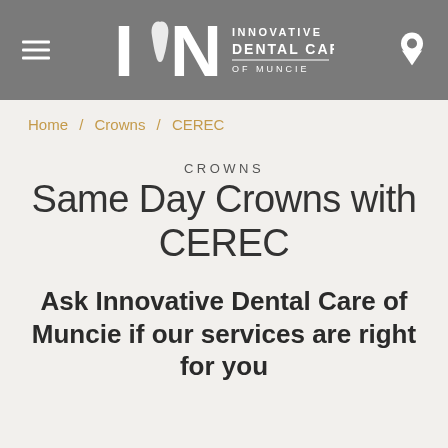Innovative Dental Care of Muncie
Home / Crowns / CEREC
CROWNS
Same Day Crowns with CEREC
Ask Innovative Dental Care of Muncie if our services are right for you